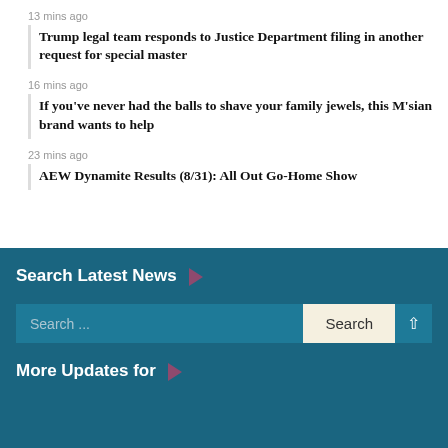13 mins ago
Trump legal team responds to Justice Department filing in another request for special master
16 mins ago
If you've never had the balls to shave your family jewels, this M'sian brand wants to help
23 mins ago
AEW Dynamite Results (8/31): All Out Go-Home Show
Search Latest News
Search ...
More Updates for